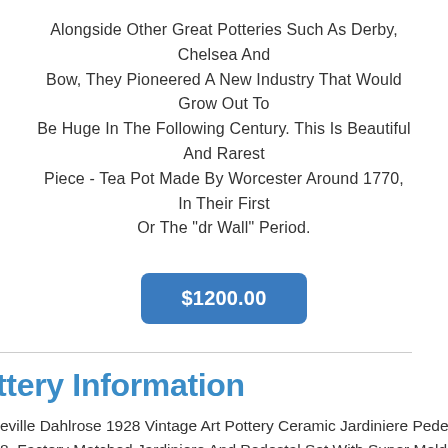Alongside Other Great Potteries Such As Derby, Chelsea And Bow, They Pioneered A New Industry That Would Grow Out To Be Huge In The Following Century. This Is Beautiful And Rarest Piece - Tea Pot Made By Worcester Around 1770, In Their First Or The "dr Wall" Period.
$1200.00
ttery Information
eville Dahlrose 1928 Vintage Art Pottery Ceramic Jardiniere Pedes 8. Factory Matched Jardiniere And Pedestal Set With Super Mold . r. Excellent Original Condition. Spider Line To The Bottom That D Go Through. Jardiniere Is 8 12" Tall And 11" Wide. Pedestal Is 16 And 19" Wide.